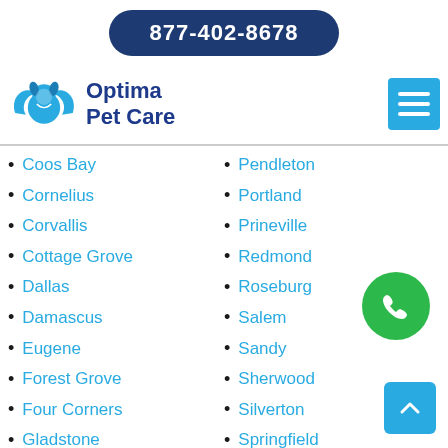877-402-8678
[Figure (logo): Optima Pet Care logo with stylized dog/cat and wings in blue]
Optima Pet Care
Coos Bay
Cornelius
Corvallis
Cottage Grove
Dallas
Damascus
Eugene
Forest Grove
Four Corners
Gladstone
Grants Pass
Gresham
Happy Valley
Pendleton
Portland
Prineville
Redmond
Roseburg
Salem
Sandy
Sherwood
Silverton
Springfield
St. Helens
The Dalles
Tigard